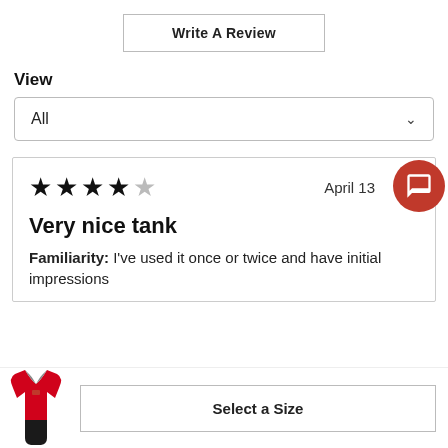Write A Review
View
All
April 13
Very nice tank
Familiarity: I've used it once or twice and have initial impressions
[Figure (photo): Red and black athletic tank top product thumbnail]
Select a Size